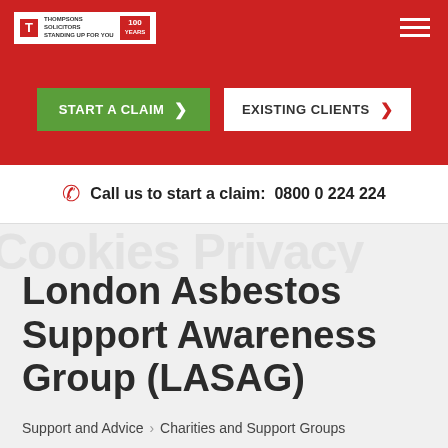Thompsons Solicitors — Standing Up For You
[Figure (screenshot): Thompsons Solicitors logo with 100 years badge and hamburger menu icon on red background]
START A CLAIM >
EXISTING CLIENTS >
Call us to start a claim: 0800 0 224 224
London Asbestos Support Awareness Group (LASAG)
Support and Advice > Charities and Support Groups